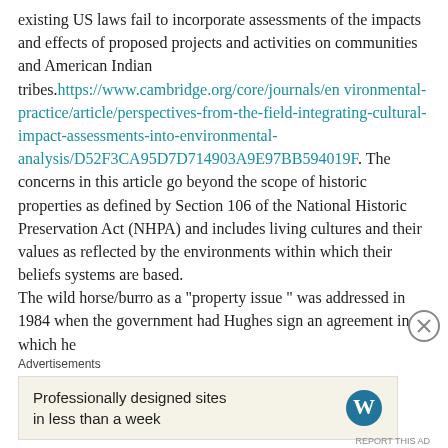existing US laws fail to incorporate assessments of the impacts and effects of proposed projects and activities on communities and American Indian tribes. https://www.cambridge.org/core/journals/environmental-practice/article/perspectives-from-the-field-integrating-cultural-impact-assessments-into-environmental-analysis/D52F3CA95D7D714903A9E97BB594019F . The concerns in this article go beyond the scope of historic properties as defined by Section 106 of the National Historic Preservation Act (NHPA) and includes living cultures and their values as reflected by the environments within which their beliefs systems are based. The wild horse/burro as a "property issue " was addressed in 1984 when the government had Hughes sign an agreement in which he
Advertisements
[Figure (other): WordPress advertisement banner: 'Professionally designed sites in less than a week' with WordPress logo]